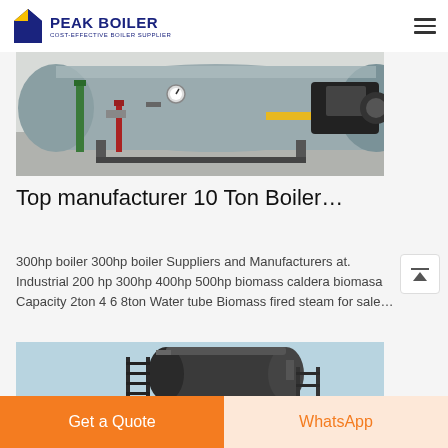PEAK BOILER - COST-EFFECTIVE BOILER SUPPLIER
[Figure (photo): Industrial boiler room with large horizontal cylindrical boiler tank, green and red piping, pressure gauges, yellow gas pipe connections, and burner unit on concrete floor]
Top manufacturer 10 Ton Boiler…
300hp boiler 300hp boiler Suppliers and Manufacturers at. Industrial 200 hp 300hp 400hp 500hp biomass caldera biomasa Capacity 2ton 4 6 8ton Water tube Biomass fired steam for sale…
[Figure (photo): Outdoor industrial boiler equipment on rooftop or elevated platform, showing dark cylindrical tank with ladder/railing structure against blue sky]